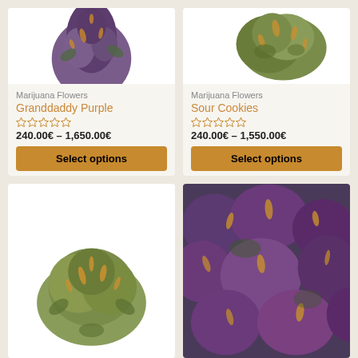[Figure (photo): Close-up photo of Granddaddy Purple cannabis flower bud with purple and green coloring on white background]
Marijuana Flowers
Granddaddy Purple
240.00€ – 1,650.00€
Select options
[Figure (photo): Close-up photo of Sour Cookies cannabis flower bud with green and orange coloring on white background]
Marijuana Flowers
Sour Cookies
240.00€ – 1,550.00€
Select options
[Figure (photo): Close-up photo of cannabis flower bud with green and orange coloring on white background]
[Figure (photo): Macro close-up photo of purple and green cannabis buds]